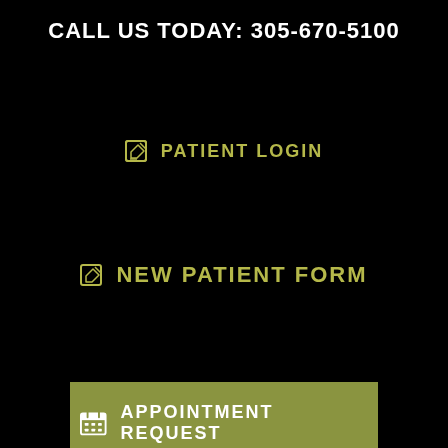CALL US TODAY: 305-670-5100
PATIENT LOGIN
NEW PATIENT FORM
APPOINTMENT REQUEST